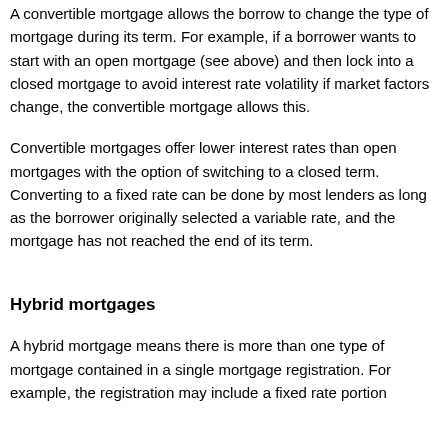A convertible mortgage allows the borrow to change the type of mortgage during its term. For example, if a borrower wants to start with an open mortgage (see above) and then lock into a closed mortgage to avoid interest rate volatility if market factors change, the convertible mortgage allows this.
Convertible mortgages offer lower interest rates than open mortgages with the option of switching to a closed term. Converting to a fixed rate can be done by most lenders as long as the borrower originally selected a variable rate, and the mortgage has not reached the end of its term.
Hybrid mortgages
A hybrid mortgage means there is more than one type of mortgage contained in a single mortgage registration. For example, the registration may include a fixed rate portion